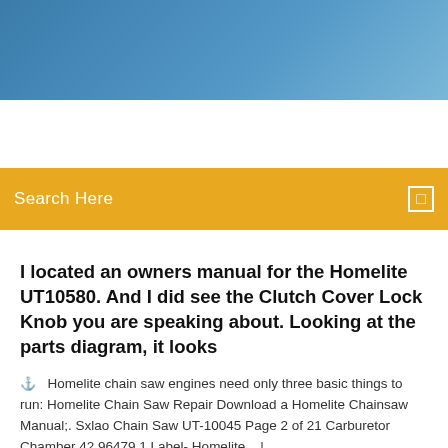[Figure (photo): Blue gradient header banner at the top of a webpage]
Search Here
I located an owners manual for the Homelite UT10580. And I did see the Clutch Cover Lock Knob you are speaking about. Looking at the parts diagram, it looks
Homelite chain saw engines need only three basic things to run: Homelite Chain Saw Repair Download a Homelite Chainsaw Manual;. Sxlao Chain Saw UT-10045 Page 2 of 21 Carburetor Chamber 42 96479 1 Label- Homelite.   |
8 Comments